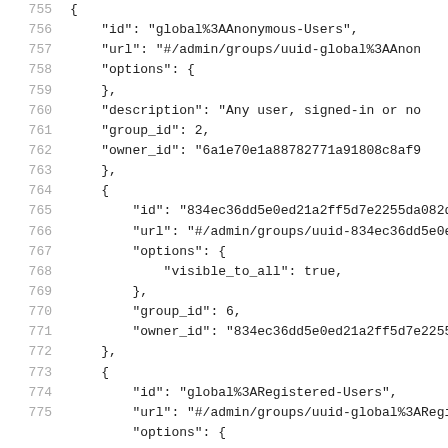755    {
756        "id": "global%3AAnonymous-Users",
757        "url": "#/admin/groups/uuid-global%3AAnon
758        "options": {
759        },
760        "description": "Any user, signed-in or no
761        "group_id": 2,
762        "owner_id": "6a1e70e1a88782771a91808c8af9
763    },
764    {
765        "id": "834ec36dd5e0ed21a2ff5d7e2255da082d
766        "url": "#/admin/groups/uuid-834ec36dd5e0e
767        "options": {
768            "visible_to_all": true,
769        },
770        "group_id": 6,
771        "owner_id": "834ec36dd5e0ed21a2ff5d7e2255
772    },
773    {
774        "id": "global%3ARegistered-Users",
775        "url": "#/admin/groups/uuid-global%3ARegi
         "options": {